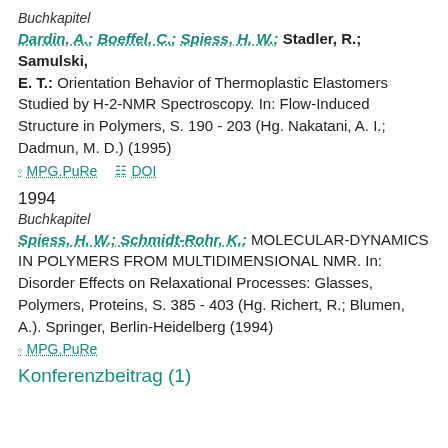Buchkapitel
Dardin, A.; Boeffel, C.; Spiess, H. W.; Stadler, R.; Samulski, E. T.: Orientation Behavior of Thermoplastic Elastomers Studied by H-2-NMR Spectroscopy. In: Flow-Induced Structure in Polymers, S. 190 - 203 (Hg. Nakatani, A. I.; Dadmun, M. D.) (1995)
MPG.PuRe   DOI
1994
Buchkapitel
Spiess, H. W.; Schmidt-Rohr, K.: MOLECULAR-DYNAMICS IN POLYMERS FROM MULTIDIMENSIONAL NMR. In: Disorder Effects on Relaxational Processes: Glasses, Polymers, Proteins, S. 385 - 403 (Hg. Richert, R.; Blumen, A.). Springer, Berlin-Heidelberg (1994)
MPG.PuRe
Konferenzbeitrag (1)